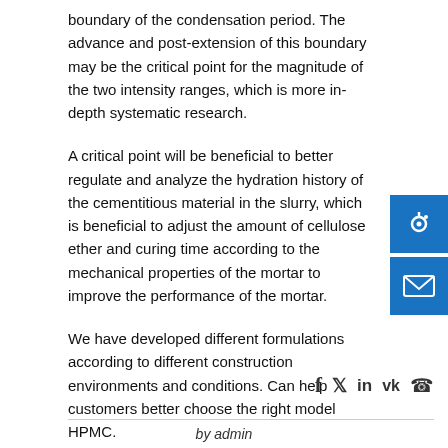boundary of the condensation period. The advance and post-extension of this boundary may be the critical point for the magnitude of the two intensity ranges, which is more in-depth systematic research.
A critical point will be beneficial to better regulate and analyze the hydration history of the cementitious material in the slurry, which is beneficial to adjust the amount of cellulose ether and curing time according to the mechanical properties of the mortar to improve the performance of the mortar.
We have developed different formulations according to different construction environments and conditions. Can help customers better choose the right model HPMC.
CELLULOSE ETHER
by admin